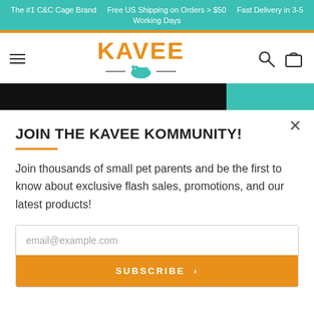The #1 C&C Cage Brand   Free US Shipping on Orders > $50   Fast Delivery in 3-5 Working Days
[Figure (logo): Kavee logo with guinea pig icon in teal, orange KAVEE text]
JOIN THE KAVEE KOMMUNITY!
Join thousands of small pet parents and be the first to know about exclusive flash sales, promotions, and our latest products!
email@example.com
SUBSCRIBE >